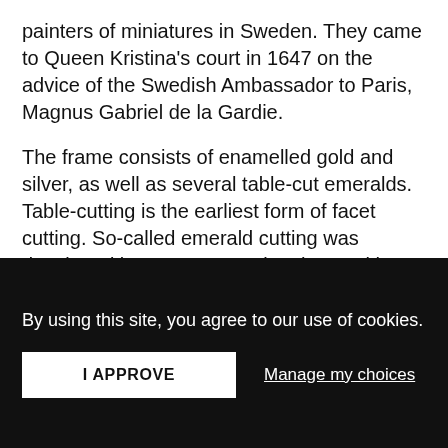painters of miniatures in Sweden. They came to Queen Kristina's court in 1647 on the advice of the Swedish Ambassador to Paris, Magnus Gabriel de la Gardie.
The frame consists of enamelled gold and silver, as well as several table-cut emeralds. Table-cutting is the earliest form of facet cutting. So-called emerald cutting was developed later, a rectangular shape with faceted corners. Without sharp corners, the fragile emerald is less...
By using this site, you agree to our use of cookies.
I APPROVE
Manage my choices